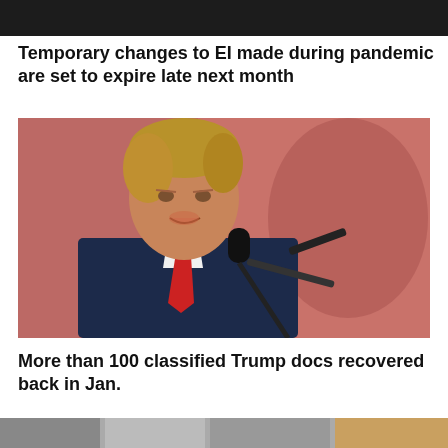[Figure (photo): Dark/black cropped image at top of page, partial view]
Temporary changes to EI made during pandemic are set to expire late next month
[Figure (photo): Photo of Donald Trump speaking at a microphone at a rally, wearing a dark suit and red tie, crowd visible in background]
More than 100 classified Trump docs recovered back in Jan.
[Figure (photo): Partial view of another image at the bottom of the page, showing documents or papers]